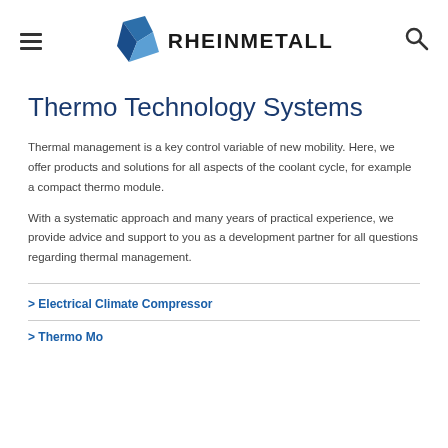RHEINMETALL
Thermo Technology Systems
Thermal management is a key control variable of new mobility. Here, we offer products and solutions for all aspects of the coolant cycle, for example a compact thermo module.
With a systematic approach and many years of practical experience, we provide advice and support to you as a development partner for all questions regarding thermal management.
> Electrical Climate Compressor
> Thermo Module